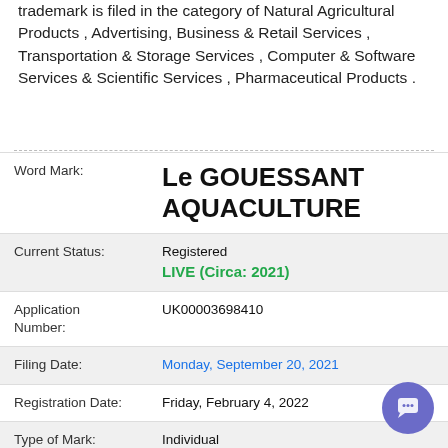trademark is filed in the category of Natural Agricultural Products , Advertising, Business & Retail Services , Transportation & Storage Services , Computer & Software Services & Scientific Services , Pharmaceutical Products .
| Field | Value |
| --- | --- |
| Word Mark: | Le GOUESSANT AQUACULTURE |
| Current Status: | Registered
LIVE (Circa: 2021) |
| Application Number: | UK00003698410 |
| Filing Date: | Monday, September 20, 2021 |
| Registration Date: | Friday, February 4, 2022 |
| Type of Mark: | Individual |
| Mark Feature: | Figurative |